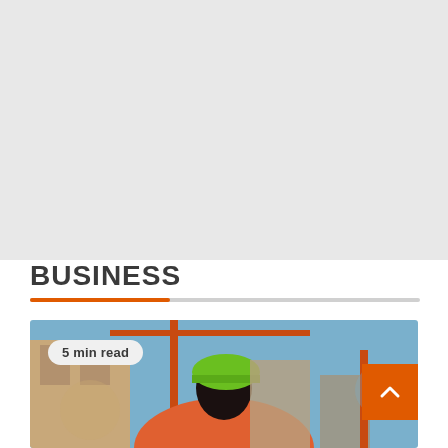[Figure (photo): Light gray placeholder area representing an image at the top of the page]
BUSINESS
[Figure (photo): A construction worker wearing a green hard hat and orange high-visibility jacket, viewed from behind, with a construction crane and building scaffolding in the background under a blue sky. A '5 min read' badge overlays the top-left of the image. An orange back-to-top button with an upward chevron is in the bottom-right corner.]